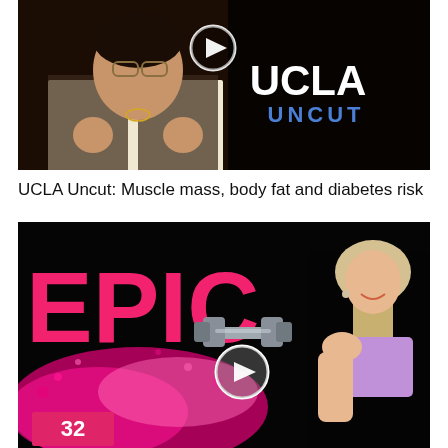[Figure (screenshot): UCLA Uncut video thumbnail showing a person in patterned clothing speaking, with a play button icon visible and the text UCLA UNCUT in the top right corner]
UCLA Uncut: Muscle mass, body fat and diabetes risk
[Figure (screenshot): Fitness video thumbnail with large pink bold text 'EPIC', a woman in athletic wear holding a dumbbell, pink powder explosion, a play button, and the number 32 in a pink badge in the bottom left]